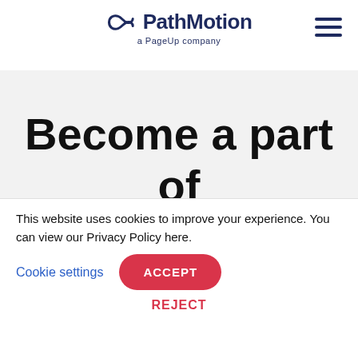[Figure (logo): PathMotion logo with infinity-style icon and text 'PathMotion a PageUp company']
Become a part of the team
This website uses cookies to improve your experience. You can view our Privacy Policy here. Cookie settings ACCEPT REJECT